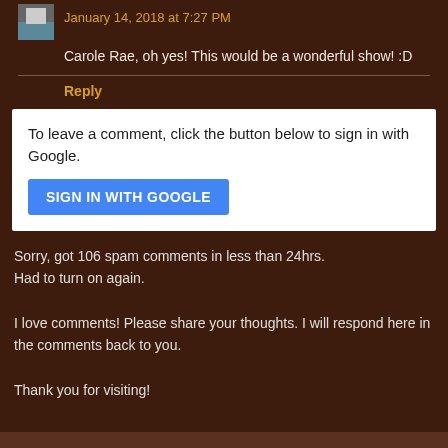January 14, 2018 at 7:27 PM
Carole Rae, oh yes! This would be a wonderful show! :D
Reply
To leave a comment, click the button below to sign in with Google.
SIGN IN WITH GOOGLE
Sorry, got 106 spam comments in less than 24hrs. Had to turn on again.

I love comments! Please share your thoughts. I will respond here in the comments back to you.

Thank you for visiting!